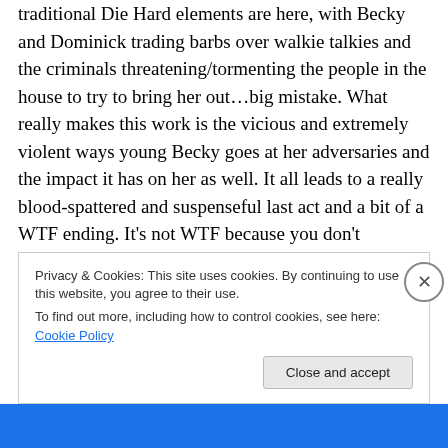traditional Die Hard elements are here, with Becky and Dominick trading barbs over walkie talkies and the criminals threatening/tormenting the people in the house to try to bring her out…big mistake. What really makes this work is the vicious and extremely violent ways young Becky goes at her adversaries and the impact it has on her as well. It all leads to a really blood-spattered and suspenseful last act and a bit of a WTF ending. It's not WTF because you don't understand what's happened, it's because you do! The skillful direction and the film effectively portraying what Becky has gone through, make
Privacy & Cookies: This site uses cookies. By continuing to use this website, you agree to their use.
To find out more, including how to control cookies, see here: Cookie Policy